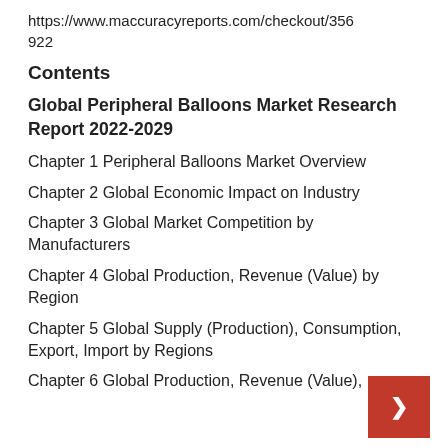https://www.maccuracyreports.com/checkout/356922
Contents
Global Peripheral Balloons Market Research Report 2022-2029
Chapter 1 Peripheral Balloons Market Overview
Chapter 2 Global Economic Impact on Industry
Chapter 3 Global Market Competition by Manufacturers
Chapter 4 Global Production, Revenue (Value) by Region
Chapter 5 Global Supply (Production), Consumption, Export, Import by Regions
Chapter 6 Global Production, Revenue (Value),